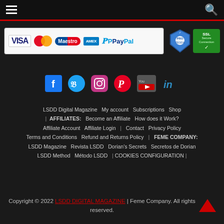Navigation bar with hamburger menu and search icon
[Figure (other): Payment method logos: VISA, MasterCard, Maestro, American Express, PayPal, plus security badges (Protegida shield and SSL Secure Connection)]
[Figure (other): Social media icons: Facebook (f), Twitter, Instagram, Pinterest, YouTube, LinkedIn]
LSDD Digital Magazine | My account | Subscriptions | Shop | AFFILIATES: Become an Affiliate | How does it Work? | Affiliate Account | Affiliate Login | Contact | Privacy Policy | Terms and Conditions | Refund and Returns Policy | FEME COMPANY: LSDD Magazine | Revista LSDD | Dorian's Secrets | Secretos de Dorian | LSDD Method | Método LSDD | COOKIES CONFIGURATION |
Copyright © 2022 LSDD DIGITAL MAGAZINE | Feme Company. All rights reserved.